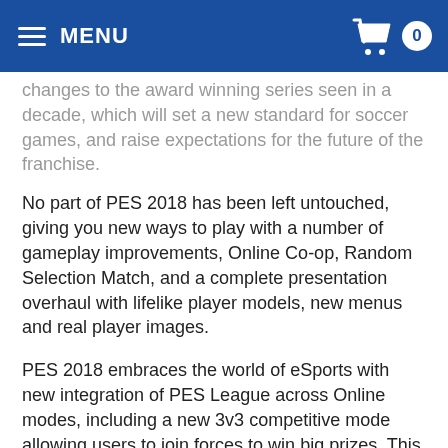MENU | 0
changes to the award winning series seen in a decade, which will set a new standard for soccer games, and raise expectations for the future of the franchise.
No part of PES 2018 has been left untouched, giving you new ways to play with a number of gameplay improvements, Online Co-op, Random Selection Match, and a complete presentation overhaul with lifelike player models, new menus and real player images.
PES 2018 embraces the world of eSports with new integration of PES League across Online modes, including a new 3v3 competitive mode allowing users to join forces to win big prizes. This, alongside bringing the PC version to a level that meets the quality standard of its PS4 counterpart, only scratches the surface of the significant changes to PES 2018.
THE SUPER 7: LEGENDARY CHANGES COMING TO